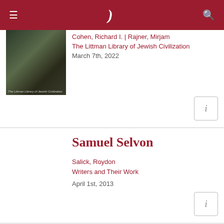[Figure (screenshot): Navigation bar with hamburger menu, stylized logo, and search icon on dark red background]
Cohen, Richard I. | Rajner, Mirjam
The Littman Library of Jewish Civilization
March 7th, 2022
[Figure (photo): Book cover thumbnail for Littman Library publication]
Samuel Selvon
Salick, Roydon
Writers and Their Work
April 1st, 2013
Danser Samuel Beckett
[Figure (photo): Partial book cover thumbnail for Danser Samuel Beckett]